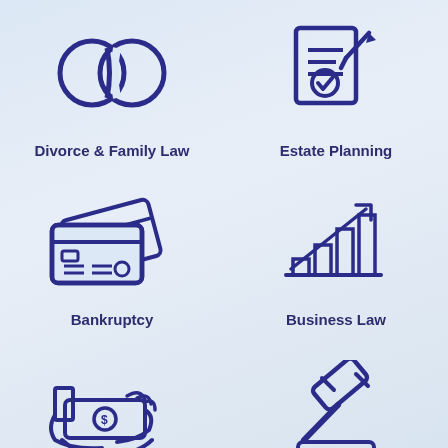[Figure (illustration): Two interlocked rings icon representing marriage/divorce]
Divorce & Family Law
[Figure (illustration): Document with pen and checkmark icon representing estate planning]
Estate Planning
[Figure (illustration): Credit cards stacked icon representing bankruptcy]
Bankruptcy
[Figure (illustration): Bar chart with upward arrow representing business growth/law]
Business Law
[Figure (illustration): Hand receiving money icon representing financial settlement]
[Figure (illustration): Gavel on sound block icon representing law/court]